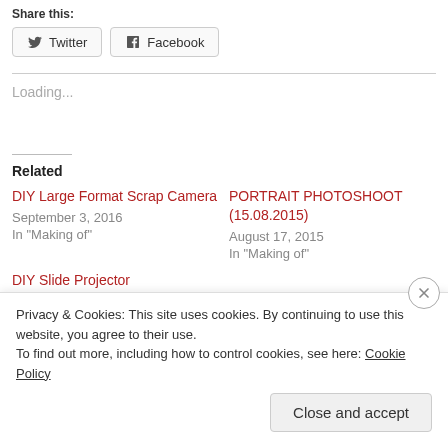Share this:
Twitter  Facebook
Loading...
Related
DIY Large Format Scrap Camera
September 3, 2016
In "Making of"
PORTRAIT PHOTOSHOOT (15.08.2015)
August 17, 2015
In "Making of"
DIY Slide Projector
Privacy & Cookies: This site uses cookies. By continuing to use this website, you agree to their use.
To find out more, including how to control cookies, see here: Cookie Policy
Close and accept